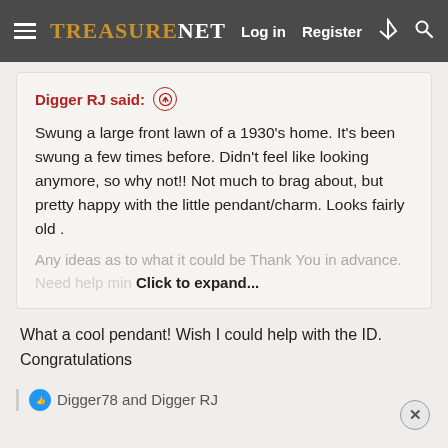TreasureNet  Log in  Register
Digger RJ said:
Swung a large front lawn of a 1930’s home. It’s been swung a few times before. Didn’t feel like looking anymore, so why not!! Not much to brag about, but pretty happy with the little pendant/charm. Looks fairly old .
Any ideas as to what it could be Thank You in advance.  Click to expand...
What a cool pendant! Wish I could help with the ID. Congratulations
Digger78 and Digger RJ